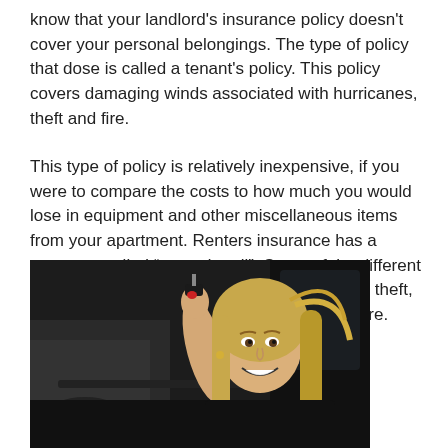know that your landlord's insurance policy doesn't cover your personal belongings. The type of policy that dose is called a tenant's policy. This policy covers damaging winds associated with hurricanes, theft and fire.
This type of policy is relatively inexpensive, if you were to compare the costs to how much you would lose in equipment and other miscellaneous items from your apartment. Renters insurance has a coverage called “named peril”. Some of the different types of “named peril” are windstorm, smoke, theft, discharge of accidental water, lightning and fire.
[Figure (photo): A smiling young woman with long blonde hair holding up a car key while leaning out of a car window, wearing a black top. The background shows a car interior and parking area.]